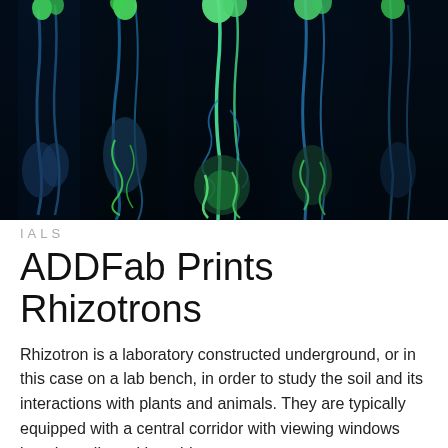[Figure (photo): Fluorescence imaging of plant roots in rhizotron containers showing glowing blue and green root systems against a black background. Multiple tall cylindrical containers are visible with luminescent root structures growing downward.]
IALS
ADDFab Prints Rhizotrons
Rhizotron is a laboratory constructed underground, or in this case on a lab bench, in order to study the soil and its interactions with plants and animals. They are typically equipped with a central corridor with viewing windows into the soil on either side.
Learn More